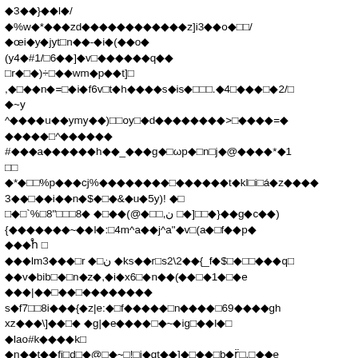◆3◆◆}◆◆l◆/
◆%w◆*◆◆◆zd◆◆◆◆◆◆◆◆◆◆◆◆z]i3◆◆o◆□□/
◆œi◆y◆jyt□n◆◆-◆i◆(◆◆o◆
(y4◆#1/□6◆◆]◆v□◆◆◆◆◆◆q◆◆
□r◆□◆)÷□◆◆wm◆p◆◆t]□
,◆□◆◆n◆=□◆i◆f6v□t◆h◆◆◆◆s◆is◆□□□.◆4□◆◆◆□◆2/□
◆~y
^◆◆◆◆u◆◆ymy◆◆)□□oy□◆d◆◆◆◆◆◆◆◆>□◆◆◆◆=◆
◆◆◆◆◆□^◆◆◆◆◆◆
#◆◆◆a◆◆◆◆◆◆h◆◆_◆◆◆g◆□ω p◆□n□j◆@◆◆◆◆*◆1
□□
◆*◆□□%p◆◆◆cj%◆◆◆◆◆◆◆◆□◆◆◆◆◆◆t◆kl□i□á◆z◆◆◆◆
3◆◆□◆◆i◆◆n◆$◆□◆&◆u◆5y)! ◆□
□◆□`%□8"□□□8◆ ◆□◆◆(@◆□□,ن □◆]□□◆}◆◆g◆c◆◆)
{◆◆◆◆◆◆◆~◆◆l◆:□4m^a◆◆j^a"◆v□(a◆□f◆◆p◆
◆◆◆h̊ □
◆◆◆lm3◆◆◆□r ◆□ن ◆ks◆◆r□s2\2◆◆{_f◆$□◆□□◆◆◆q□
◆◆v◆bib□◆□n◆z◆,◆i◆x6□◆n◆◆(◆◆□◆1◆□◆e
◆◆◆|◆◆□◆◆□◆◆◆◆◆◆◆◆
s◆f7□□8i◆◆◆{◆z|e:◆□f◆◆◆◆◆□n◆◆◆◆□69◆◆◆◆gh
xz◆◆◆\]◆◆□◆ ◆g|◆e◆◆◆◆□◆~◆ig□◆◆l◆□
◆lao#k◆◆◆◆k□
◆n◆◆t◆◆fi□d□◆@□◆~□!□i◆gt◆◆]◆□◆◆□b◆r̈□,□◆◆e
◆d□c◆◆◆ [◆œ□◆□□◆◆◆◆p◆□2◆ims◆◆q□z◆◆◆;`□k?